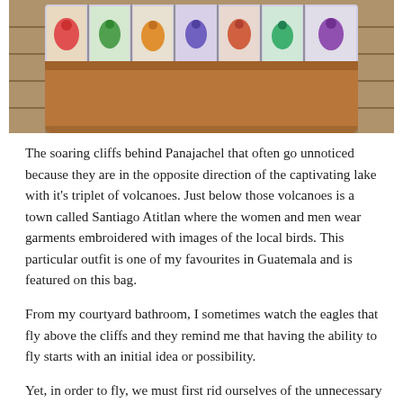[Figure (photo): A colorful embroidered bag with bird motifs on fabric panels and brown leather trim, resting on wooden planks outdoors.]
The soaring cliffs behind Panajachel that often go unnoticed because they are in the opposite direction of the captivating lake with it's triplet of volcanoes. Just below those volcanoes is a town called Santiago Atitlan where the women and men wear garments embroidered with images of the local birds. This particular outfit is one of my favourites in Guatemala and is featured on this bag.
From my courtyard bathroom, I sometimes watch the eagles that fly above the cliffs and they remind me that having the ability to fly starts with an initial idea or possibility.
Yet, in order to fly, we must first rid ourselves of the unnecessary weights we have in every day life that keep us tied to the ground. I call them fears.